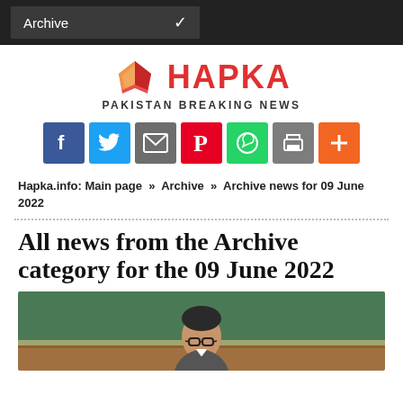Archive
[Figure (logo): Hapka logo with book/newspaper icon and text HAPKA PAKISTAN BREAKING NEWS]
[Figure (infographic): Social sharing icons: Facebook, Twitter, Email, Pinterest, WhatsApp, Print, Plus]
Hapka.info: Main page » Archive » Archive news for 09 June 2022
All news from the Archive category for the 09 June 2022
[Figure (photo): Photo of a man with glasses against a green background]